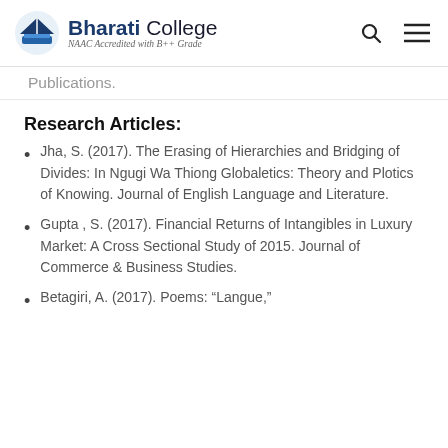Bharati College — NAAC Accredited with B++ Grade
Publications.
Research Articles:
Jha, S. (2017). The Erasing of Hierarchies and Bridging of Divides: In Ngugi Wa Thiong Globaletics: Theory and Plotics of Knowing. Journal of English Language and Literature.
Gupta , S. (2017). Financial Returns of Intangibles in Luxury Market: A Cross Sectional Study of 2015. Journal of Commerce & Business Studies.
Betagiri, A. (2017). Poems: “Langue,”